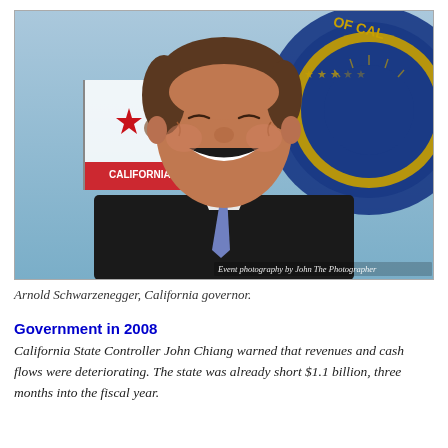[Figure (photo): Arnold Schwarzenegger smiling in front of the California state flag and the California state seal (blue and gold circular seal). A watermark reads 'Event photography by John The Photographer'.]
Arnold Schwarzenegger, California governor.
Government in 2008
California State Controller John Chiang warned that revenues and cash flows were deteriorating. The state was already short $1.1 billion, three months into the fiscal year.